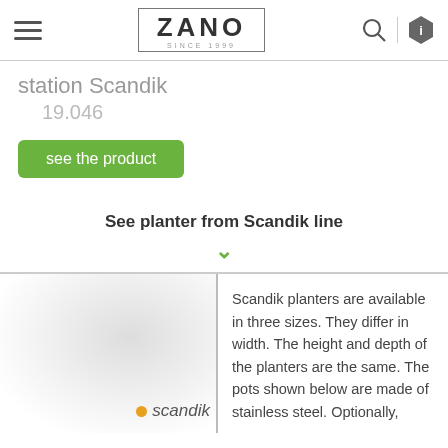[Figure (logo): ZANO logo with border and 'SINCE 1999' text below, hamburger menu icon on left, search and info icons on right]
station Scandik
19.046
see the product
See planter from Scandik line
Scandik planters are available in three sizes. They differ in width. The height and depth of the planters are the same. The pots shown below are made of stainless steel. Optionally,
scandik